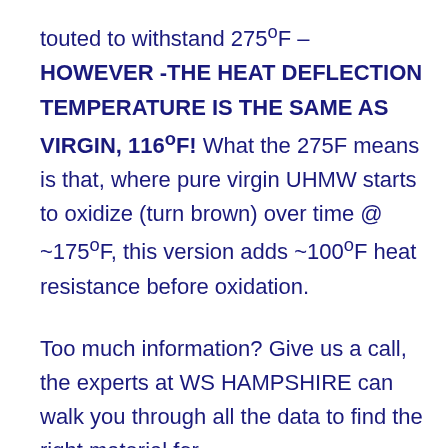touted to withstand 275°F – HOWEVER -THE HEAT DEFLECTION TEMPERATURE IS THE SAME AS VIRGIN, 116°F! What the 275F means is that, where pure virgin UHMW starts to oxidize (turn brown) over time @ ~175°F, this version adds ~100°F heat resistance before oxidation.
Too much information? Give us a call, the experts at WS HAMPSHIRE can walk you through all the data to find the right material for